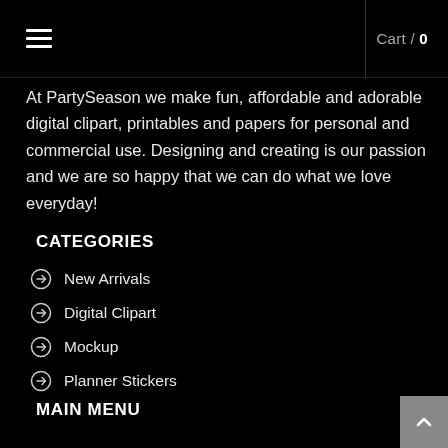Cart / 0
At PartySeason we make fun, affordable and adorable digital clipart, printables and papers for personal and commercial use. Designing and creating is our passion and we are so happy that we can do what we love everyday!
CATEGORIES
New Arrivals
Digital Clipart
Mockup
Planner Stickers
MAIN MENU